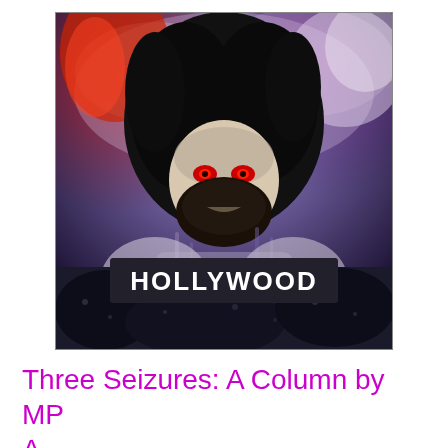[Figure (illustration): Artistic illustration of a man with long dark hair and beard with red eyes looming over the Hollywood sign, with dramatic red, purple, and dark blue colors]
Three Seizures: A Column by MP A...